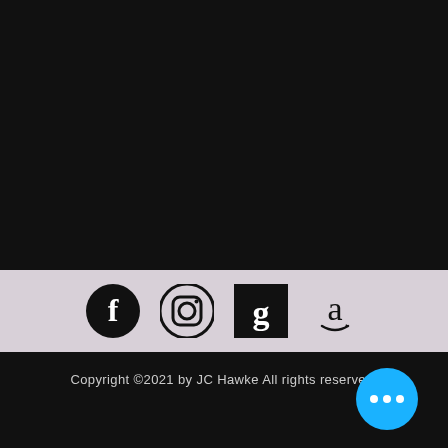[Figure (illustration): Black rectangular area filling the upper portion of the page]
[Figure (illustration): Social media icons band: Facebook, Instagram, Goodreads, Amazon on a light purple/gray background]
Copyright ©2021 by JC Hawke All rights reserved.